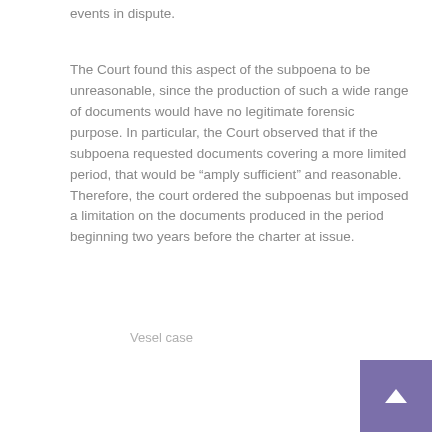events in dispute.
The Court found this aspect of the subpoena to be unreasonable, since the production of such a wide range of documents would have no legitimate forensic purpose. In particular, the Court observed that if the subpoena requested documents covering a more limited period, that would be “amply sufficient” and reasonable. Therefore, the court ordered the subpoenas but imposed a limitation on the documents produced in the period beginning two years before the charter at issue.
Vesel case